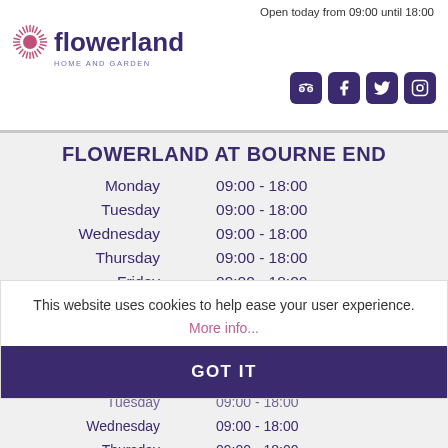Open today from 09:00 until 18:00
[Figure (logo): Flowerland Home and Garden logo with sunburst graphic and purple text]
FLOWERLAND AT BOURNE END
| Day | Hours |
| --- | --- |
| Monday | 09:00 - 18:00 |
| Tuesday | 09:00 - 18:00 |
| Wednesday | 09:00 - 18:00 |
| Thursday | 09:00 - 18:00 |
| Friday | 09:00 - 18:00 |
| Saturday | 09:00 - 18:00 |
| Sunday | 10:30 - 16:30 |
Due to trading laws we are unable to process anything through the tills until 10:30am on Sundays
This website uses cookies to help ease your user experience.
More info...
GOT IT
| Day | Hours |
| --- | --- |
| Tuesday | 09:00 - 18:00 |
| Wednesday | 09:00 - 18:00 |
| Thursday | 09:00 - 18:00 |